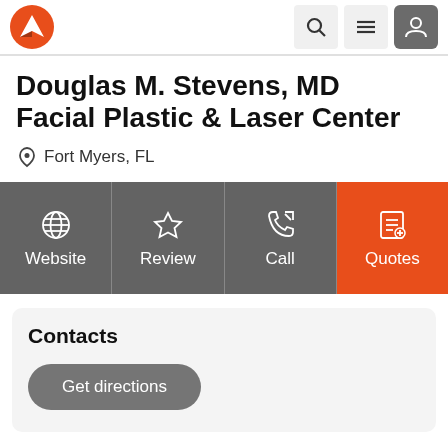Navigation bar with logo, search, menu, and user icons
Douglas M. Stevens, MD Facial Plastic & Laser Center
Fort Myers, FL
[Figure (screenshot): Four action buttons: Website, Review, Call, Quotes (highlighted in orange)]
Contacts
Get directions